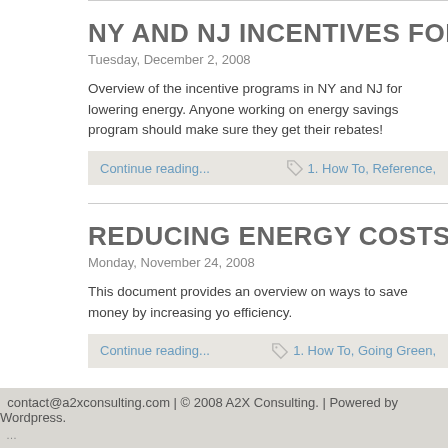NY AND NJ INCENTIVES FOR ENERGY SAVIN...
Tuesday, December 2, 2008
Overview of the incentive programs in NY and NJ for lowering energy. Anyone working on energy savings program should make sure they get their rebates!
Continue reading...
1. How To, Reference,
REDUCING ENERGY COSTS
Monday, November 24, 2008
This document provides an overview on ways to save money by increasing your efficiency.
Continue reading...
1. How To, Going Green,
contact@a2xconsulting.com | © 2008 A2X Consulting. | Powered by Wordpress.